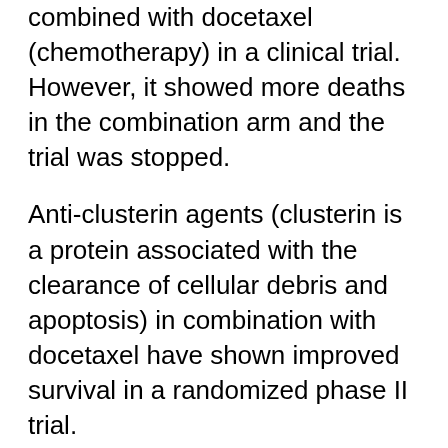combined with docetaxel (chemotherapy) in a clinical trial. However, it showed more deaths in the combination arm and the trial was stopped.
Anti-clusterin agents (clusterin is a protein associated with the clearance of cellular debris and apoptosis) in combination with docetaxel have shown improved survival in a randomized phase II trial.
Atrasentan, and denosumab attack the bone environment, a primary target for